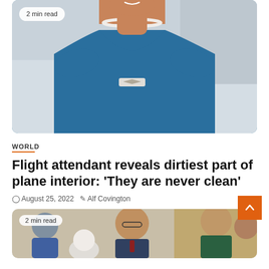[Figure (photo): A smiling flight attendant wearing a teal/blue uniform with a pearl necklace and airline wings badge, photographed from the chest up against a light grey background. A '2 min read' badge overlays the top-left corner.]
WORLD
Flight attendant reveals dirtiest part of plane interior: ‘They are never clean’
August 25, 2022   Alf Covington
[Figure (photo): A group of smiling people including an elderly figure in white at the front and several men and women in formal attire laughing together. A '2 min read' badge overlays the top-left corner.]